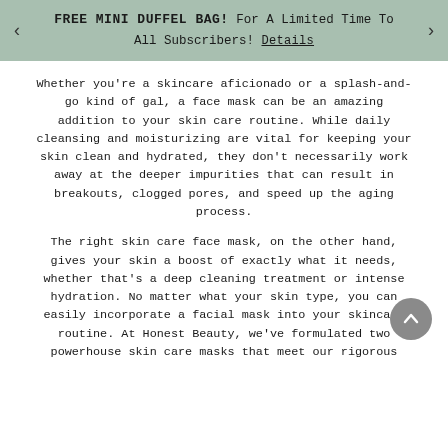FREE MINI DUFFEL BAG! For A Limited Time To All Subscribers! Details
Whether you're a skincare aficionado or a splash-and-go kind of gal, a face mask can be an amazing addition to your skin care routine. While daily cleansing and moisturizing are vital for keeping your skin clean and hydrated, they don't necessarily work away at the deeper impurities that can result in breakouts, clogged pores, and speed up the aging process.
The right skin care face mask, on the other hand, gives your skin a boost of exactly what it needs, whether that's a deep cleaning treatment or intense hydration. No matter what your skin type, you can easily incorporate a facial mask into your skincare routine. At Honest Beauty, we've formulated two powerhouse skin care masks that meet our rigorous